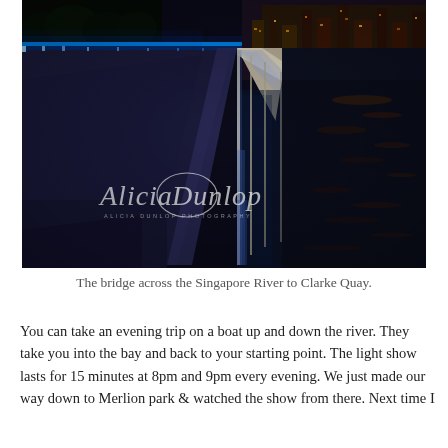[Figure (photo): Night photograph of an illuminated bridge with blue LED lighting along its railing, spanning across the Singapore River toward Clarke Quay. The river is visible on the right, reflecting city lights. A watermark reading 'Alicia Dunlop' and 'ALICIA DUNLOP PHOTOGRAPHY' is visible in the lower-left of the image.]
The bridge across the Singapore River to Clarke Quay.
You can take an evening trip on a boat up and down the river. They take you into the bay and back to your starting point. The light show lasts for 15 minutes at 8pm and 9pm every evening. We just made our way down to Merlion park & watched the show from there. Next time I